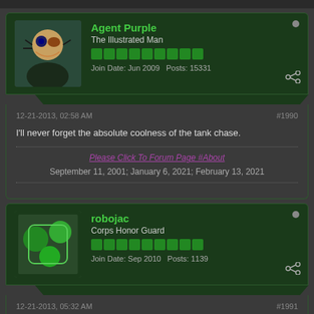Agent Purple - The Illustrated Man - Join Date: Jun 2009 Posts: 15331
12-21-2013, 02:58 AM #1990
I'll never forget the absolute coolness of the tank chase.
September 11, 2001; January 6, 2021; February 13, 2021
robojac - Corps Honor Guard - Join Date: Sep 2010 Posts: 1139
12-21-2013, 05:32 AM #1991
Star Trek: Nemesis (2002)